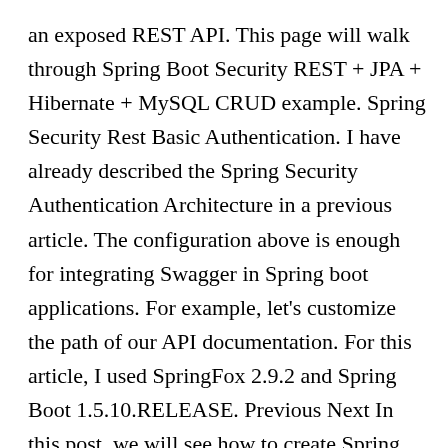an exposed REST API. This page will walk through Spring Boot Security REST + JPA + Hibernate + MySQL CRUD example. Spring Security Rest Basic Authentication. I have already described the Spring Security Authentication Architecture in a previous article. The configuration above is enough for integrating Swagger in Spring boot applications. For example, let's customize the path of our API documentation. For this article, I used SpringFox 2.9.2 and Spring Boot 1.5.10.RELEASE. Previous Next In this post, we will see how to create Spring boot + Spring Security example. Documentation of such REST Services we develop is very important.